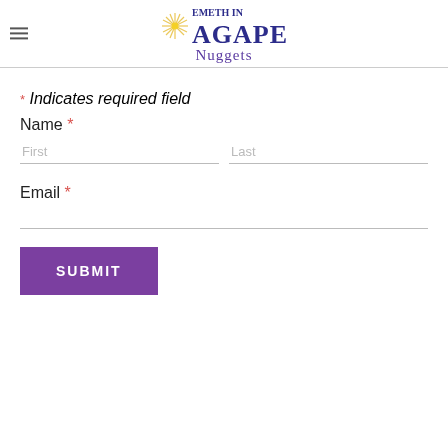Emeth in Agape Nuggets
* Indicates required field
Name *
First
Last
Email *
SUBMIT